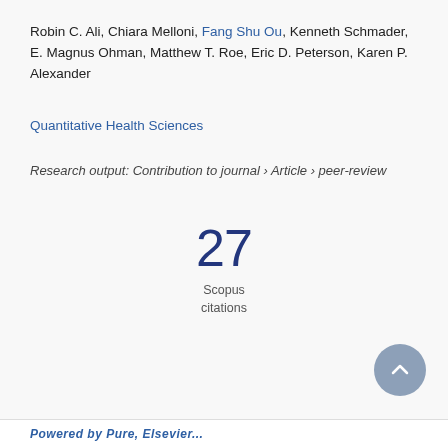Robin C. Ali, Chiara Melloni, Fang Shu Ou, Kenneth Schmader, E. Magnus Ohman, Matthew T. Roe, Eric D. Peterson, Karen P. Alexander
Quantitative Health Sciences
Research output: Contribution to journal › Article › peer-review
27
Scopus
citations
Powered by Pure, Elsevier...